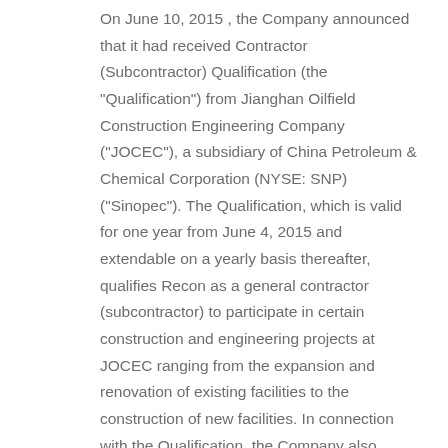On June 10, 2015 , the Company announced that it had received Contractor (Subcontractor) Qualification (the "Qualification") from Jianghan Oilfield Construction Engineering Company ("JOCEC"), a subsidiary of China Petroleum & Chemical Corporation (NYSE: SNP) ("Sinopec"). The Qualification, which is valid for one year from June 4, 2015 and extendable on a yearly basis thereafter, qualifies Recon as a general contractor (subcontractor) to participate in certain construction and engineering projects at JOCEC ranging from the expansion and renovation of existing facilities to the construction of new facilities. In connection with the Qualification, the Company also announced that it has secured a contract with JOCEC worth approximately RMB 550,000.
About Recon
Recon Technology, Ltd. is China's first independent oil and gas field service company listed on NASDAQ (RCON). Working closely with leading global partners, Recon has achieved rapid growth supplying China's largest oil and gas